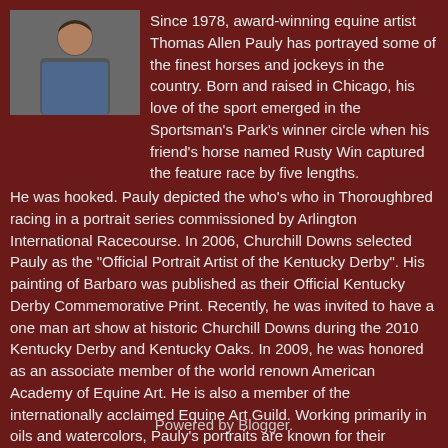[Figure (photo): Small portrait photo of Thomas Allen Pauly, a man in a blue shirt, appearing to be working or painting]
Since 1978, award-winning equine artist Thomas Allen Pauly has portrayed some of the finest horses and jockeys in the country. Born and raised in Chicago, his love of the sport emerged in the Sportsman's Park's winner circle when his friend's horse named Rusty Win captured the feature race by five lengths. He was hooked. Pauly depicted the who's who in Thoroughbred racing in a portrait series commissioned by Arlington International Racecourse. In 2006, Churchill Downs selected Pauly as the "Official Portrait Artist of the Kentucky Derby". His painting of Barbaro was published as their Official Kentucky Derby Commemorative Print. Recently, he was invited to have a one man art show at historic Churchill Downs during the 2010 Kentucky Derby and Kentucky Oaks. In 2009, he was honored as an associate member of the world renown American Academy of Equine Art. He is also a member of the internationally acclaimed Equine Art Guild. Working primarily in oils and watercolors, Pauly's portraits are known for their accuracy, their energy, their sentiment and their celebration of achievement.
View my complete profile
Powered by Blogger.